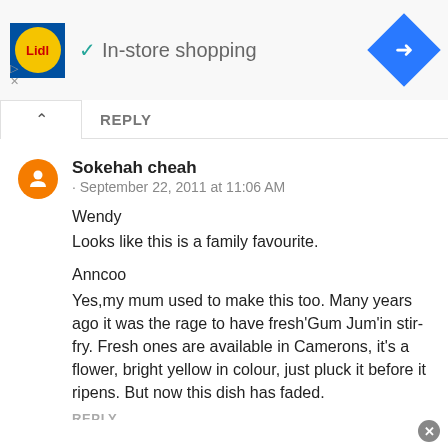[Figure (screenshot): Lidl store ad banner with logo, In-store shopping text and navigation arrow diamond icon]
REPLY
Sokehah cheah
· September 22, 2011 at 11:06 AM
Wendy
Looks like this is a family favourite.

Anncoo
Yes,my mum used to make this too. Many years ago it was the rage to have fresh'Gum Jum'in stir-fry. Fresh ones are available in Camerons, it's a flower, bright yellow in colour, just pluck it before it ripens. But now this dish has faded.
REPLY